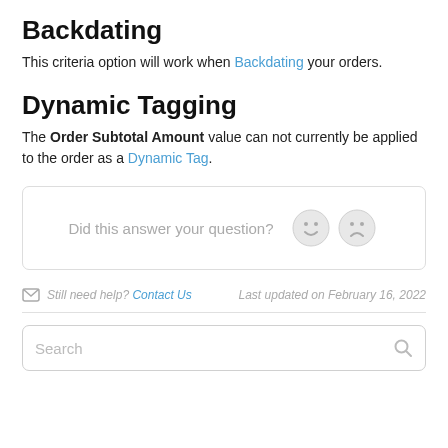Backdating
This criteria option will work when Backdating your orders.
Dynamic Tagging
The Order Subtotal Amount value can not currently be applied to the order as a Dynamic Tag.
[Figure (other): Feedback widget box with text 'Did this answer your question?' and two emoji buttons (smiley and frowning face)]
Still need help? Contact Us   Last updated on February 16, 2022
Search